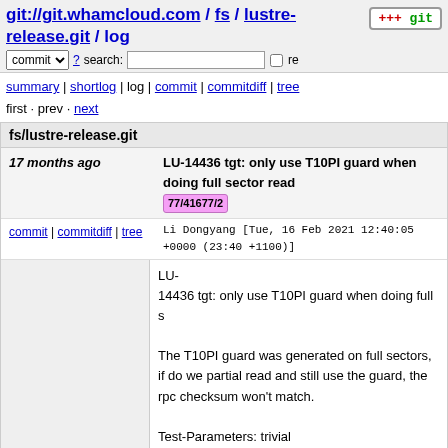git://git.whamcloud.com / fs / lustre-release.git / log
summary | shortlog | log | commit | commitdiff | tree
first · prev · next
fs/lustre-release.git
17 months ago
LU-14436 tgt: only use T10PI guard when doing full sector read
77/41677/2
commit | commitdiff | tree
Li Dongyang [Tue, 16 Feb 2021 12:40:05 +0000 (23:40 +1100)]
LU-14436 tgt: only use T10PI guard when doing full sector read

The T10PI guard was generated on full sectors, if do we partial read and still use the guard, the rpc checksum won't match.

Test-Parameters: trivial
Change-Id: I40d481d703a46b9711021a162208b86a956bc
Signed-off-by: Li Dongyang <dongyangli@ddn.com>
Reviewed-on: https://review.whamcloud.com/41677